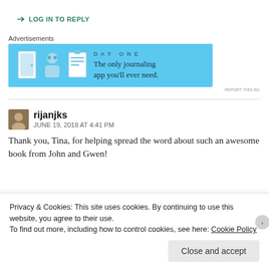➜ LOG IN TO REPLY
[Figure (other): Advertisement banner for Day One journaling app with blue background, icons of a door, person, and notepad, and text 'The only journaling app you'll ever need.']
Advertisements
rijanjks
JUNE 19, 2018 AT 4:41 PM
Thank you, Tina, for helping spread the word about such an awesome book from John and Gwen!
Privacy & Cookies: This site uses cookies. By continuing to use this website, you agree to their use.
To find out more, including how to control cookies, see here: Cookie Policy
Close and accept